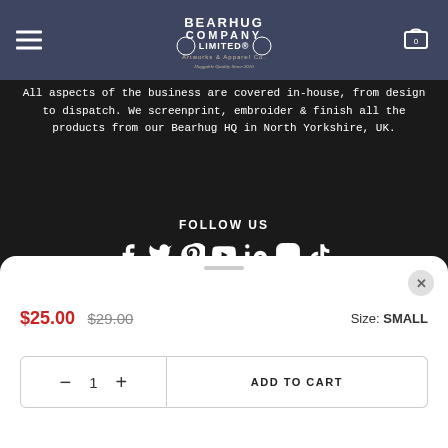Bearhug Company Limited — Artworks & Apparel Co. Huggable Quality Since 2010
All aspects of the business are covered in-house, from design to dispatch. We screenprint, embroider & finish all the products from our Bearhug HQ in North Yorkshire, UK.
FOLLOW US
[Figure (infographic): Social media icons: Facebook, Twitter, Pinterest, YouTube, LinkedIn, Instagram, TikTok]
$25.00  $29.00  Size: SMALL
— 1 +  ADD TO CART